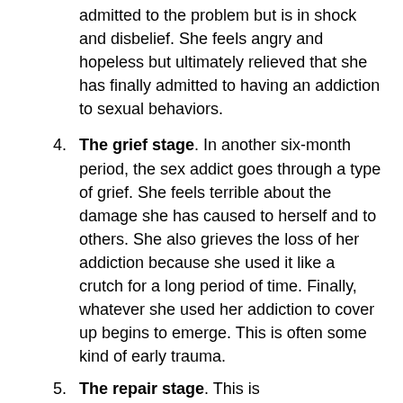admitted to the problem but is in shock and disbelief. She feels angry and hopeless but ultimately relieved that she has finally admitted to having an addiction to sexual behaviors.
4. The grief stage. In another six-month period, the sex addict goes through a type of grief. She feels terrible about the damage she has caused to herself and to others. She also grieves the loss of her addiction because she used it like a crutch for a long period of time. Finally, whatever she used her addiction to cover up begins to emerge. This is often some kind of early trauma.
5. The repair stage. This is ...